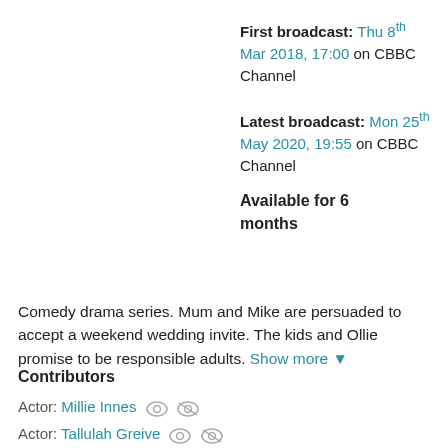First broadcast: Thu 8th Mar 2018, 17:00 on CBBC Channel
Latest broadcast: Mon 25th May 2020, 19:55 on CBBC Channel
Available for 6 months
Comedy drama series. Mum and Mike are persuaded to accept a weekend wedding invite. The kids and Ollie promise to be responsible adults. Show more ▼
Contributors
Actor: Millie Innes
Actor: Tallulah Greive
Actor: Jeremy Edwards